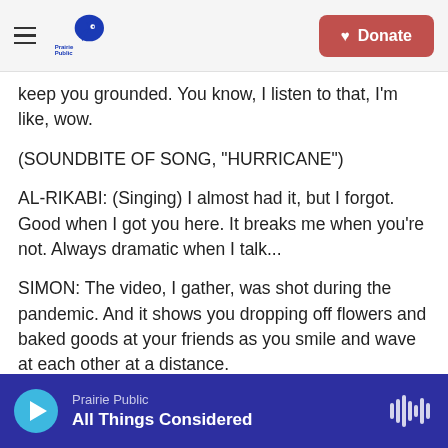Prairie Public | Donate
keep you grounded. You know, I listen to that, I'm like, wow.
(SOUNDBITE OF SONG, "HURRICANE")
AL-RIKABI: (Singing) I almost had it, but I forgot. Good when I got you here. It breaks me when you're not. Always dramatic when I talk...
SIMON: The video, I gather, was shot during the pandemic. And it shows you dropping off flowers and baked goods at your friends as you smile and wave at each other at a distance.
Prairie Public — All Things Considered